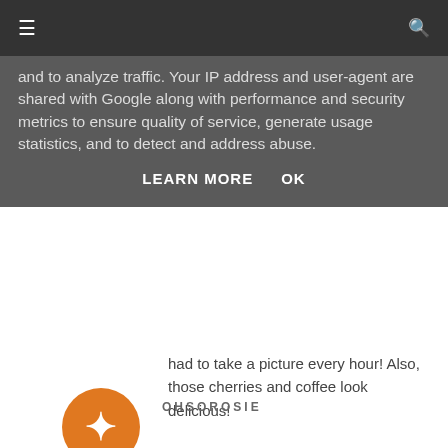≡  🔍
and to analyze traffic. Your IP address and user-agent are shared with Google along with performance and security metrics to ensure quality of service, generate usage statistics, and to detect and address abuse.
LEARN MORE    OK
had to take a picture every hour! Also, those cherries and coffee look delicious!

xx
Sophisticated Lace
Reply
[Figure (illustration): Orange circular avatar with a white letter B (Blogger logo) in the center]
OHSOROSIE